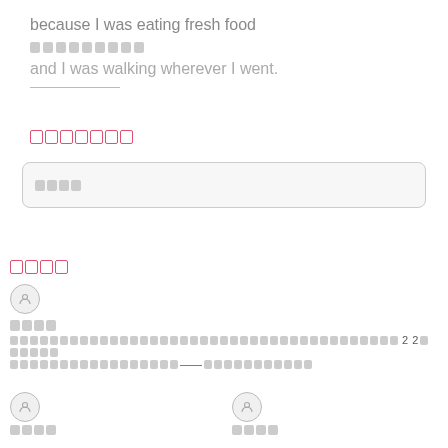because I was eating fresh food
[redacted]
and I was walking wherever I went.
[pink redacted label]
[input box with redacted text]
[pink redacted label bottom]
[avatar] [name redacted] [description redacted] 22 [redacted]
[avatar] [name redacted]
[avatar] [name redacted]